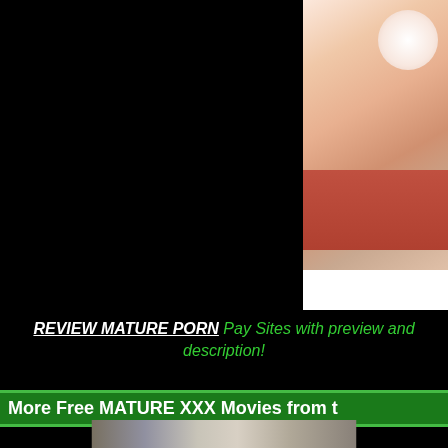[Figure (photo): Black background with a partial photo of a person in the upper right corner showing skin tones on a light/white background]
REVIEW MATURE PORN Pay Sites with preview and description!
More Free MATURE XXX Movies from t
[Figure (photo): Partial photo at bottom showing two people in what appears to be a kitchen/interior setting]